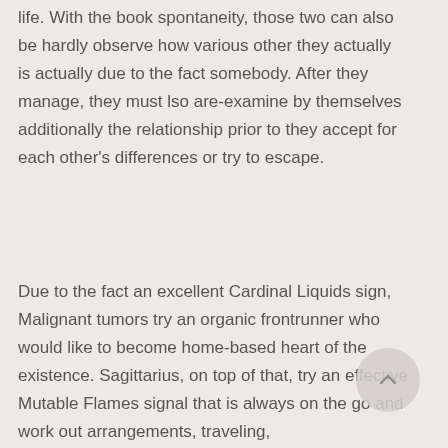life. With the book spontaneity, those two can also be hardly observe how various other they actually is actually due to the fact somebody. After they manage, they must lso are-examine by themselves additionally the relationship prior to they accept for each other's differences or try to escape.
Due to the fact an excellent Cardinal Liquids sign, Malignant tumors try an organic frontrunner who would like to become home-based heart of the existence. Sagittarius, on top of that, try an effective Mutable Flames signal that is always on the go and work out arrangements, traveling,